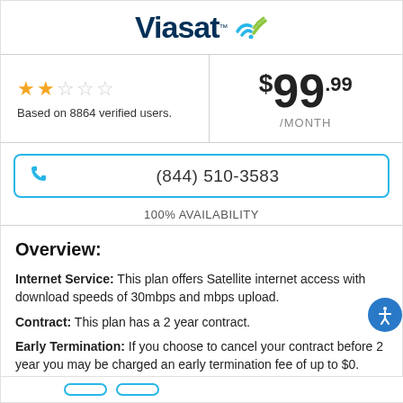[Figure (logo): Viasat logo with stylized wifi symbol in blue and green]
★★☆☆☆
Based on 8864 verified users.
$99.99 /MONTH
(844) 510-3583
100% AVAILABILITY
Overview:
Internet Service: This plan offers Satellite internet access with download speeds of 30mbps and mbps upload.
Contract: This plan has a 2 year contract.
Early Termination: If you choose to cancel your contract before 2 year you may be charged an early termination fee of up to $0.